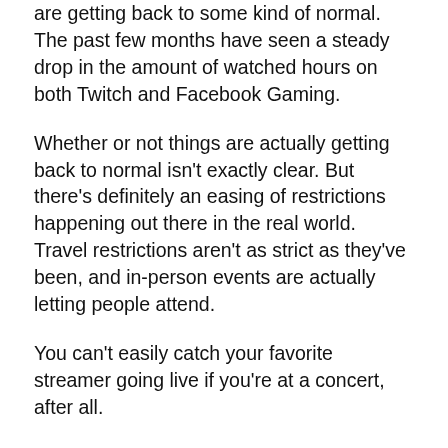are getting back to some kind of normal. The past few months have seen a steady drop in the amount of watched hours on both Twitch and Facebook Gaming.
Whether or not things are actually getting back to normal isn't exactly clear. But there's definitely an easing of restrictions happening out there in the real world. Travel restrictions aren't as strict as they've been, and in-person events are actually letting people attend.
You can't easily catch your favorite streamer going live if you're at a concert, after all.
Despite the drop, the actual number of watched